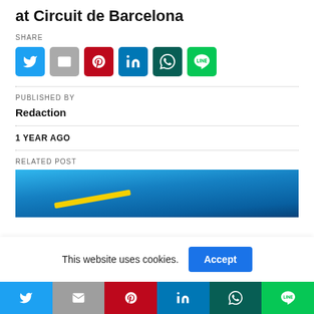at Circuit de Barcelona
SHARE
[Figure (infographic): Row of six social share icon buttons: Twitter (blue), Email (gray), Pinterest (red), LinkedIn (dark blue), WhatsApp (dark green), LINE (green)]
PUBLISHED BY
Redaction
1 YEAR AGO
RELATED POST
[Figure (photo): Partial photo of racing car, blue tones with yellow highlight]
This website uses cookies.
[Figure (infographic): Bottom sticky share bar with six colored buttons: Twitter, Email, Pinterest, LinkedIn, WhatsApp, LINE]